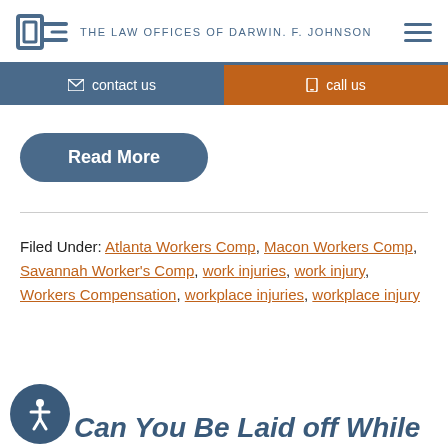THE LAW OFFICES OF DARWIN. F. JOHNSON
contact us | call us
Read More
Filed Under: Atlanta Workers Comp, Macon Workers Comp, Savannah Worker's Comp, work injuries, work injury, Workers Compensation, workplace injuries, workplace injury
Can You Be Laid off While